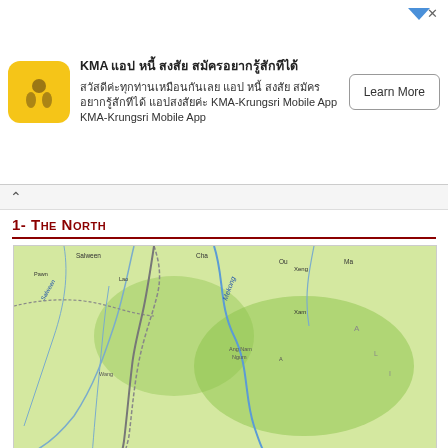[Figure (other): Advertisement banner for KMA-Krungsri Mobile App with yellow app icon, Thai text title, descriptive text mentioning KMA-Krungsri Mobile App, and a Learn More button]
[Figure (map): Map of Thailand and surrounding countries (Laos, Vietnam, Myanmar) showing major cities including Chiang Mai, Lampang, Viangchan/Vientiane, Udon Thani, Sakon Nakhon, Ubon Ratchathani, Nakhon Sawan, Phitsanulok, Khon Kaen, Nakhon Ratchasima, Ayutthaya, and Haiphong. A dark red route/circle is drawn on the map highlighting a region covering northern and northeastern Thailand and Laos.]
1- The North